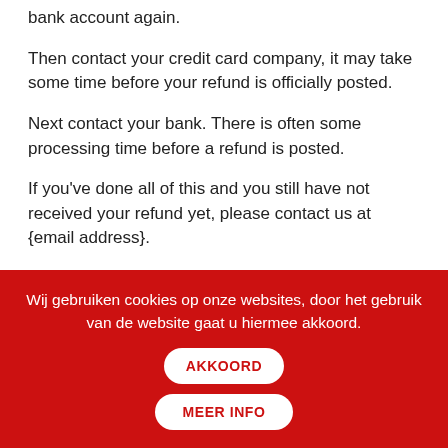bank account again.
Then contact your credit card company, it may take some time before your refund is officially posted.
Next contact your bank. There is often some processing time before a refund is posted.
If you've done all of this and you still have not received your refund yet, please contact us at {email address}.
Sale items
Only regular priced items may be refunded. Sale items
Wij gebruiken cookies op onze websites, door het gebruik van de website gaat u hiermee akkoord.
AKKOORD
MEER INFO